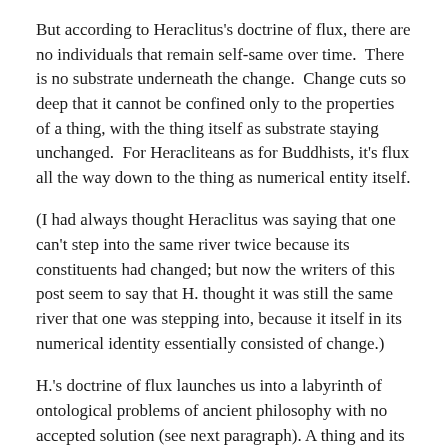But according to Heraclitus's doctrine of flux, there are no individuals that remain self-same over time.  There is no substrate underneath the change.  Change cuts so deep that it cannot be confined only to the properties of a thing, with the thing itself as substrate staying unchanged.  For Heracliteans as for Buddhists, it's flux all the way down to the thing as numerical entity itself.
(I had always thought Heraclitus was saying that one can't step into the same river twice because its constituents had changed; but now the writers of this post seem to say that H. thought it was still the same river that one was stepping into, because it itself in its numerical identity essentially consisted of change.)
H.'s doctrine of flux launches us into a labyrinth of ontological problems of ancient philosophy with no accepted solution (see next paragraph). A thing and its properties are now not distinct, and therefore nor is numerical and qualitative identity.
Here is some of the ancient, metaphysical, ontological labyrinth: